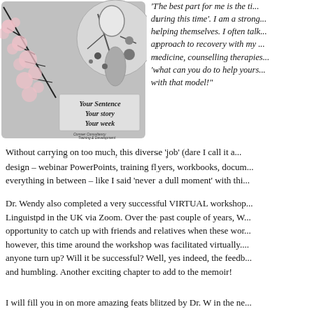[Figure (illustration): Decorative illustration with Japanese-style cherry blossoms and abstract figure, with text 'Your Sentence Your story Your week' and a logo at the bottom reading 'Comser Consultancy Training & Development']
'The best part for me is the ti... during this time'. I am a strong... helping themselves. I often talk... approach to recovery with my ... medicine, counselling therapies... 'what can you do to help yours... with that model!'
Without carrying on too much, this diverse 'job' (dare I call it a... design – webinar PowerPoints, training flyers, workbooks, docum... everything in between – like I said 'never a dull moment' with thi...
Dr. Wendy also completed a very successful VIRTUAL workshop... Linguistpd in the UK via Zoom. Over the past couple of years, W... opportunity to catch up with friends and relatives when these wor... however, this time around the workshop was facilitated virtually.... anyone turn up? Will it be successful? Well, yes indeed, the feedb... and humbling. Another exciting chapter to add to the memoir!
I will fill you in on more amazing feats blitzed by Dr. W in the ne...